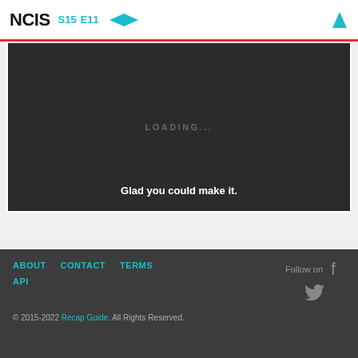NCIS S15 E11
[Figure (screenshot): Video player showing a dark loading screen with 'LOADING...' text in the center and subtitle 'Glad you could make it.' at the bottom]
ABOUT CONTACT TERMS API Follow on © 2015-2022 Recap Guide. All Rights Reserved.